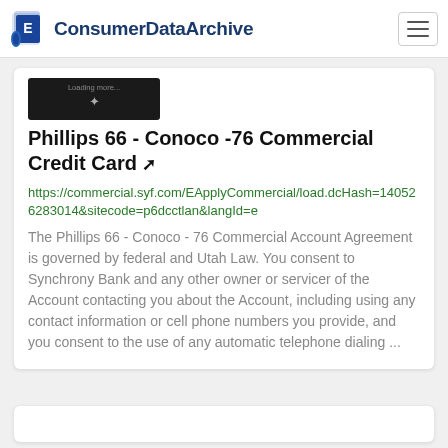ConsumerDataArchive
[Figure (screenshot): Dark card image thumbnail with loading spinner and text 'Loading more...']
Phillips 66 - Conoco -76 Commercial Credit Card
https://commercial.syf.com/EApplyCommercial/load.dcHash=140526283014&sitecode=p6dcctlan&langId=e
The Phillips 66 - Conoco - 76 Commercial Account Agreement is governed by federal and Utah Law. You consent to Synchrony Bank and any other owner or servicer of the Account contacting you about the Account, including using any contact information or cell phone numbers you provide, and you consent to the use of any automatic telephone dialing ...